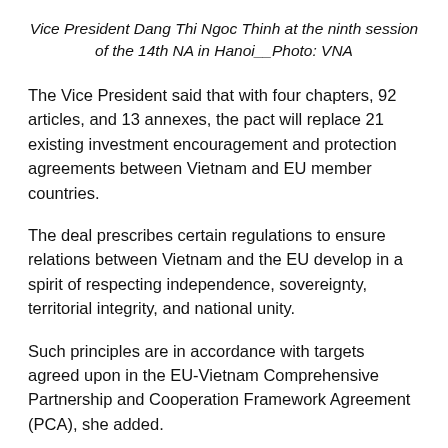Vice President Dang Thi Ngoc Thinh at the ninth session of the 14th NA in Hanoi__Photo: VNA
The Vice President said that with four chapters, 92 articles, and 13 annexes, the pact will replace 21 existing investment encouragement and protection agreements between Vietnam and EU member countries.
The deal prescribes certain regulations to ensure relations between Vietnam and the EU develop in a spirit of respecting independence, sovereignty, territorial integrity, and national unity.
Such principles are in accordance with targets agreed upon in the EU-Vietnam Comprehensive Partnership and Cooperation Framework Agreement (PCA), she added.